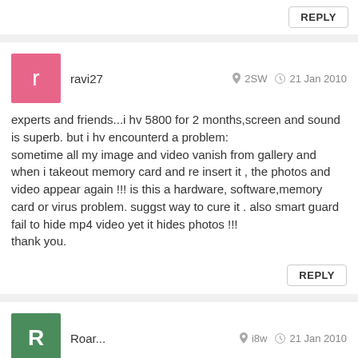REPLY
ravi27   2SW   21 Jan 2010
experts and friends...i hv 5800 for 2 months,screen and sound is superb. but i hv encounterd a problem:
sometime all my image and video vanish from gallery and when i takeout memory card and re insert it , the photos and video appear again !!! is this a hardware, software,memory card or virus problem. suggst way to cure it . also smart guard fail to hide mp4 video yet it hides photos !!!
thank you.
REPLY
Roar...   i8w   21 Jan 2010